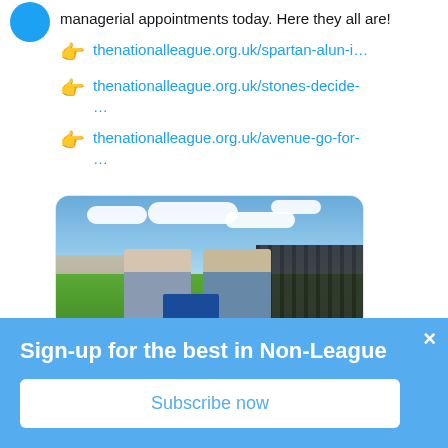managerial appointments today. Here they all are!
👉 thenationalleague.org.uk/spartan-alun-i…
👉 thenationalleague.org.uk/stones-decide-…
👉 thenationalleague.org.uk/avenue-go-for-…
[Figure (photo): Two men in suits standing on a football pitch holding a blue and yellow football jersey, with stadium stands and a black fence in the background]
Sign-up for the best in Non-League
Subscribe now